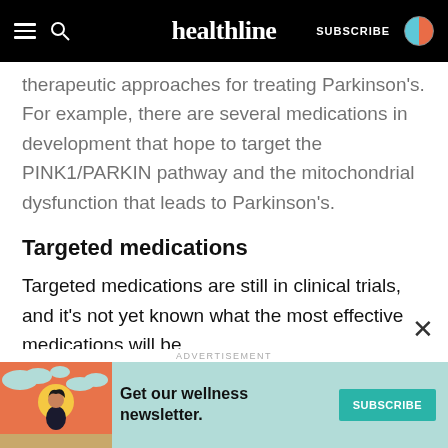healthline | SUBSCRIBE
therapeutic approaches for treating Parkinson's. For example, there are several medications in development that hope to target the PINK1/PARKIN pathway and the mitochondrial dysfunction that leads to Parkinson's.
Targeted medications
Targeted medications are still in clinical trials, and it's not yet known what the most effective medications will be.
Researchers are still trying to determine the exact right place in the mitochondrial energy process to
ADVERTISEMENT
[Figure (infographic): Ad banner with illustration of person with wellness newsletter promotion and Subscribe button on teal background]